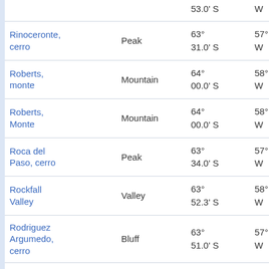| Name | Type | Latitude | Longitude | Elevation |
| --- | --- | --- | --- | --- |
|  |  | 53.0' S | W | at 1… |
| Rinoceronte, cerro | Peak | 63° 31.0' S | 57° 45.0' W | 45.1 at 54… |
| Roberts, monte | Mountain | 64° 00.0' S | 58° 48.0' W | 31.1 at 20… |
| Roberts, Monte | Mountain | 64° 00.0' S | 58° 47.0' W | 30.8 at 20… |
| Roca del Paso, cerro | Peak | 63° 34.0' S | 57° 44.0' W | 42.7 at 61… |
| Rockfall Valley | Valley | 63° 52.3' S | 58° 02.0' W | 25.7 at 12… |
| Rodriguez Argumedo, cerro | Bluff | 63° 51.0' S | 57° 35.0' W | 45.5 at 10… |
| Rogach Peak |  | 63° 19.3' S | 58° 39.8' W | 49.1 at 35… |